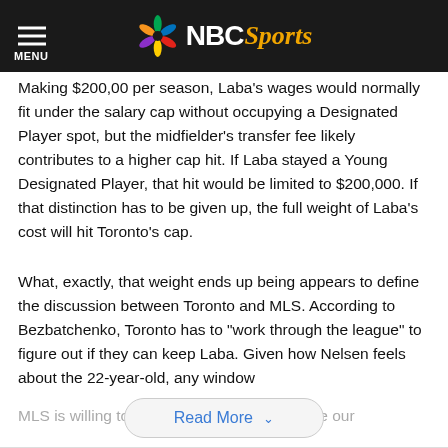NBC Sports
Making $200,00 per season, Laba’s wages would normally fit under the salary cap without occupying a Designated Player spot, but the midfielder’s transfer fee likely contributes to a higher cap hit. If Laba stayed a Young Designated Player, that hit would be limited to $200,000. If that distinction has to be given up, the full weight of Laba’s cost will hit Toronto’s cap.
What, exactly, that weight ends up being appears to define the discussion between Toronto and MLS. According to Bezbatchenko, Toronto has to “work through the league” to figure out if they can keep Laba. Given how Nelsen feels about the 22-year-old, any window MLS is willing to offer could force us to revise our